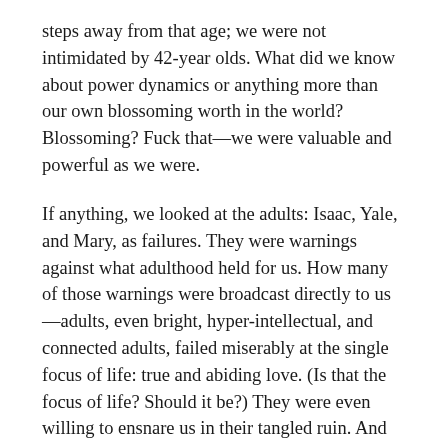steps away from that age; we were not intimidated by 42-year olds. What did we know about power dynamics or anything more than our own blossoming worth in the world? Blossoming? Fuck that—we were valuable and powerful as we were.
If anything, we looked at the adults: Isaac, Yale, and Mary, as failures. They were warnings against what adulthood held for us. How many of those warnings were broadcast directly to us—adults, even bright, hyper-intellectual, and connected adults, failed miserably at the single focus of life: true and abiding love. (Is that the focus of life? Should it be?) They were even willing to ensnare us in their tangled ruin. And yet we were becoming those adults.
I still hear Rhapsody in Blue as flirtatious, triumphant and orgasmic—just as Allen used it to begin his movie. It starts with the clarinet